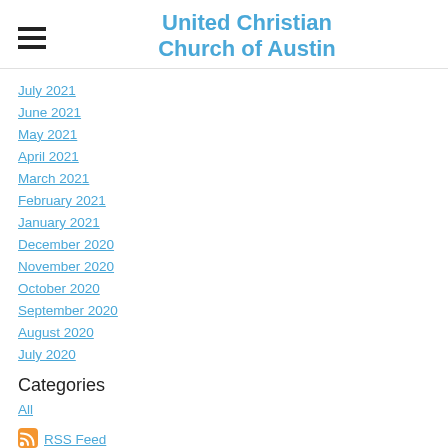United Christian Church of Austin
July 2021
June 2021
May 2021
April 2021
March 2021
February 2021
January 2021
December 2020
November 2020
October 2020
September 2020
August 2020
July 2020
Categories
All
RSS Feed